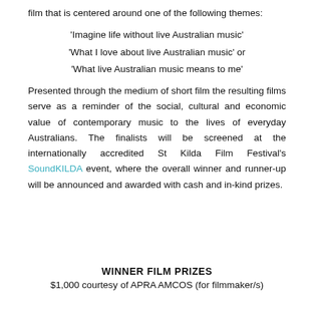film that is centered around one of the following themes:
'Imagine life without live Australian music'
'What I love about live Australian music' or
'What live Australian music means to me'
Presented through the medium of short film the resulting films serve as a reminder of the social, cultural and economic value of contemporary music to the lives of everyday Australians. The finalists will be screened at the internationally accredited St Kilda Film Festival's SoundKILDA event, where the overall winner and runner-up will be announced and awarded with cash and in-kind prizes.
WINNER FILM PRIZES
$1,000 courtesy of APRA AMCOS (for filmmaker/s)